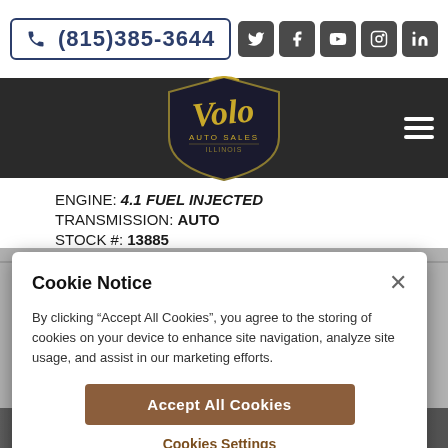(815)385-3644
[Figure (logo): Volo Auto Sales Illinois logo - gold cursive script on shield shape with dark background]
ENGINE: 4.1 FUEL INJECTED
TRANSMISSION: AUTO
STOCK #: 13885
Cookie Notice
By clicking "Accept All Cookies", you agree to the storing of cookies on your device to enhance site navigation, analyze site usage, and assist in our marketing efforts.
Accept All Cookies
Cookies Settings